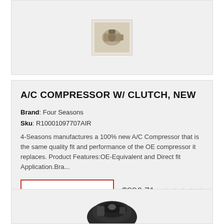[Figure (photo): Partial view of an A/C compressor product image at top of page, cut off]
A/C COMPRESSOR W/ CLUTCH, NEW
Brand: Four Seasons
Sku: R10001097707AIR
4-Seasons manufactures a 100% new A/C Compressor that is the same quality fit and performance of the OE compressor it replaces. Product Features:OE-Equivalent and Direct fit Application.Bra...
PRICING & INFO   $896.71  ★★★★★
[Figure (photo): Partial view of another A/C compressor product at bottom of page, cut off]